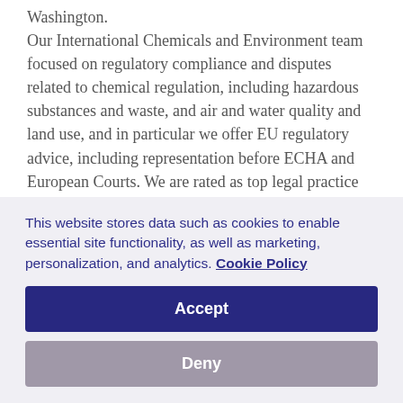Washington. Our International Chemicals and Environment team focused on regulatory compliance and disputes related to chemical regulation, including hazardous substances and waste, and air and water quality and land use, and in particular we offer EU regulatory advice, including representation before ECHA and European Courts. We are rated as top legal practice for EU Chemical regulations by the Chambers and Legal 500 legal directories. As we prepare UK to exit EU with no trade deal, we are interested to engage with UK Chemical businesses, and
This website stores data such as cookies to enable essential site functionality, as well as marketing, personalization, and analytics. Cookie Policy
Accept
Deny